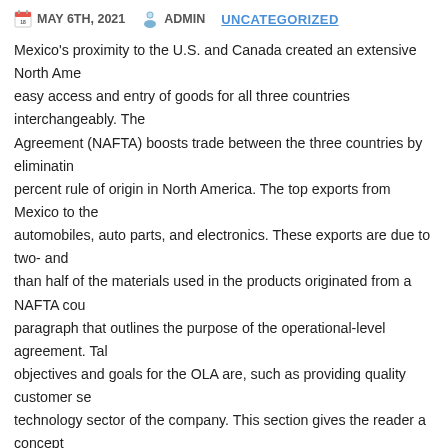MAY 6TH, 2021   ADMIN   UNCATEGORIZED
Mexico's proximity to the U.S. and Canada created an extensive North Ame... easy access and entry of goods for all three countries interchangeably. The Agreement (NAFTA) boosts trade between the three countries by eliminatin... percent rule of origin in North America. The top exports from Mexico to the automobiles, auto parts, and electronics. These exports are due to two- and than half of the materials used in the products originated from a NAFTA cou... paragraph that outlines the purpose of the operational-level agreement. Tal... objectives and goals for the OLA are, such as providing quality customer se... technology sector of the company. This section gives the reader a concept working together. Documentation in all avenues of business is nothing but a documenting what needs to be done behind the scenes provides an all-enc... operational level agreement is an agreement between. If the directed donor federal, state or other guidelines, the recipient and the physician may decid... despite the labeling which states that the donor is not considered to be sati... choose to use a directed donor, despite the unsatisfactory labeling (ie: spen... average) because it is important to use a donor they know personally. A lett... will be required in this instance. After a letter from the physician is received. consultation and infectious disease testing will take place (view). Accord an